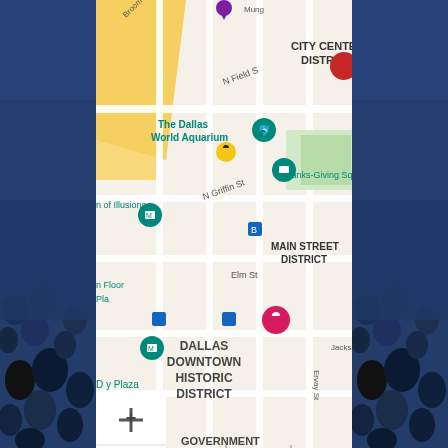[Figure (map): Google My Maps screenshot showing downtown Dallas area including The Dallas World Aquarium, Museum of Illusions, Dallas Downtown Historic District, City Center District, Main Street District, Thanks-Giving Square. Map data ©2022 Google. Scale: 1,000 ft. Shows zoom controls (+/-), various map pins in yellow, teal, green, pink, and purple colors.]
[Figure (photo): Stadium crowd photo visible on left and right edges behind dark blue overlay, showing dense crowd with blue team colors.]